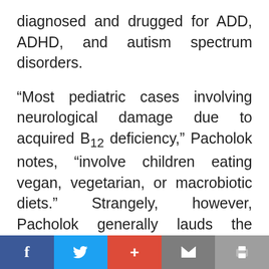diagnosed and drugged for ADD, ADHD, and autism spectrum disorders.
“Most pediatric cases involving neurological damage due to acquired B₁₂ deficiency,” Pacholok notes, “involve children eating vegan, vegetarian, or macrobiotic diets.” Strangely, however, Pacholok generally lauds the decision of parents and even children themselves who choose these diets. “None of this is a criticism of meat-free diets, which—because they are low in fat, high in phytochemicals and antioxidants, and generally low in artificial colorings and additives—are objectively very healthful”
Facebook | Twitter | + | Email | Print